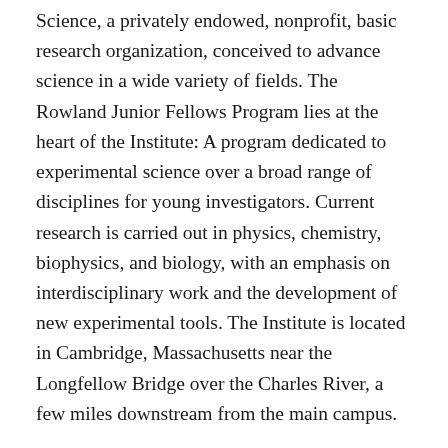Science, a privately endowed, nonprofit, basic research organization, conceived to advance science in a wide variety of fields. The Rowland Junior Fellows Program lies at the heart of the Institute: A program dedicated to experimental science over a broad range of disciplines for young investigators. Current research is carried out in physics, chemistry, biophysics, and biology, with an emphasis on interdisciplinary work and the development of new experimental tools. The Institute is located in Cambridge, Massachusetts near the Longfellow Bridge over the Charles River, a few miles downstream from the main campus.
The Rowland Fellowship provides an excellent opportunity to pursue new research ideas. The pursuit of new ideas is facilitated through a flexible and agile environment. The Fellowship provides laboratory space, funding for